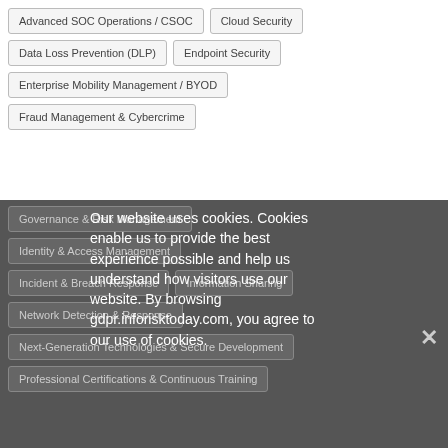Advanced SOC Operations / CSOC
Cloud Security
Data Loss Prevention (DLP)
Endpoint Security
Enterprise Mobility Management / BYOD
Fraud Management & Cybercrime
Governance & Risk Management
Identity & Access Management
Incident & Breach Response
Information Sharing
Network Detection & Response
Next-Generation Technologies & Secure Development
Professional Certifications & Continuous Training
Our website uses cookies. Cookies enable us to provide the best experience possible and help us understand how visitors use our website. By browsing gdpr.inforisktoday.com, you agree to our use of cookies.